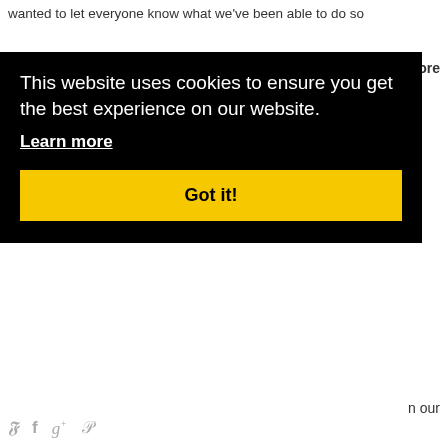wanted to let everyone know what we've been able to do so
more
[Figure (screenshot): Cookie consent overlay on a website. Black background with white text reading 'This website uses cookies to ensure you get the best experience on our website.' with an underlined 'Learn more' link and a yellow 'Got it!' button.]
n our
Social sharing icons: Twitter, Facebook, Google+, Pinterest
5 Feb 2018 - Dads having fun
Our new Dads Brunch Club got off to a roaring success on Saturday, despite a wet and cold morning. Seventeen Dads brought along their children to our Preschool area, where the kids could play safely and make new friends. Read more here >
Social sharing icons: Twitter, Facebook, Google+, Pinterest